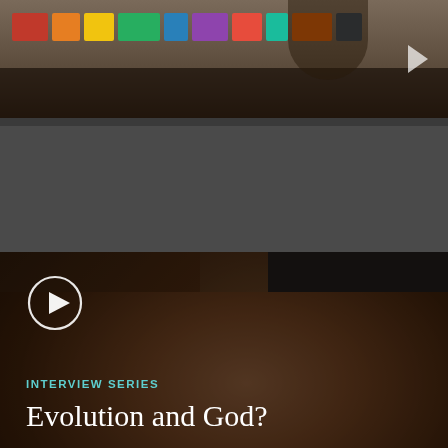[Figure (photo): Top banner showing a crowd scene with colorful objects and a right-pointing arrow, forming a video thumbnail strip]
[Figure (photo): Dark video thumbnail card featuring a close-up of a wooden or bronze crucifix statue (Christ figure with crown of thorns), with a play button icon in the top-left corner, 'INTERVIEW SERIES' label in teal, and title 'Evolution and God?' in white serif text]
INTERVIEW SERIES
Evolution and God?